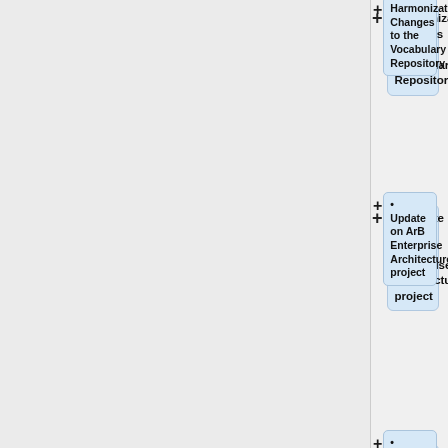Harmonization Changes to the Vocabulary Repository
Update on ArB Enterprise Architecture project
Status of Technical Editing Project
John Quinn, HL7 CTO
6:10 – 6:20 pm TSC Progress/Update
TSC progress over the last several